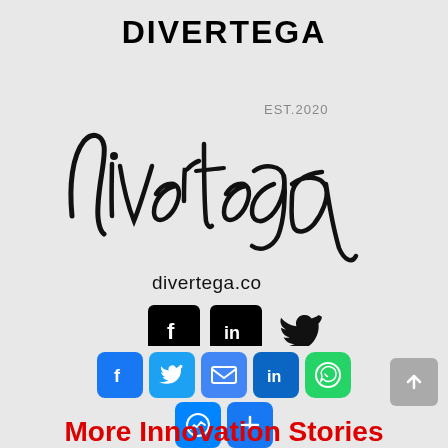DIVERTEGA
[Figure (logo): Divertega handwritten script logo with EST.2020 text]
divertega.co
[Figure (infographic): Social media icons: Facebook, LinkedIn, Twitter (black)]
[Figure (infographic): Share buttons: Facebook, Twitter, Email, LinkedIn, WhatsApp, Messenger, Plus]
More Innovation Stories